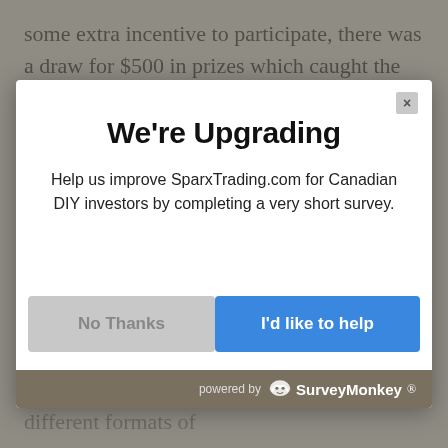some extra incentive to participate, there was a draw for $500 in prizes which caught the attention of more than a handful of Twitter users.
[Figure (screenshot): A modal dialog overlay on a webpage. Title: 'We're Upgrading'. Body: 'Help us improve SparxTrading.com for Canadian DIY investors by completing a very short survey.' Two buttons: 'No Thanks' (gray) and 'I'd like to help' (blue). Footer shows 'powered by SurveyMonkey' on a dark tan background. A close button (×) is in the top right corner.]
their campaign page on the ScotiaTRADE website, on Twitter, the hashtag hasn't generated the same kind of visible participation as the #InvestSmart campaign from BMO. Admittedly, there are some very different formats of